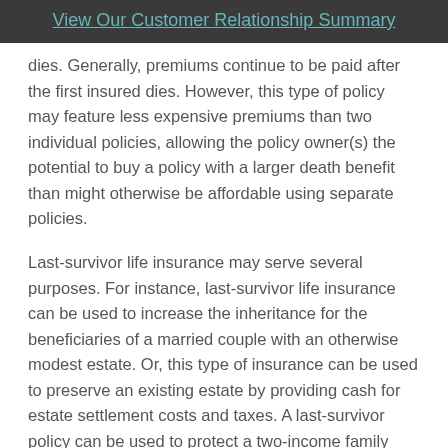View Our Customer Relationship Summary
dies. Generally, premiums continue to be paid after the first insured dies. However, this type of policy may feature less expensive premiums than two individual policies, allowing the policy owner(s) the potential to buy a policy with a larger death benefit than might otherwise be affordable using separate policies.
Last-survivor life insurance may serve several purposes. For instance, last-survivor life insurance can be used to increase the inheritance for the beneficiaries of a married couple with an otherwise modest estate. Or, this type of insurance can be used to preserve an existing estate by providing cash for estate settlement costs and taxes. A last-survivor policy can be used to protect a two-income family when the loss of one income may be tolerable but the loss of both incomes would leave dependents without financial support.